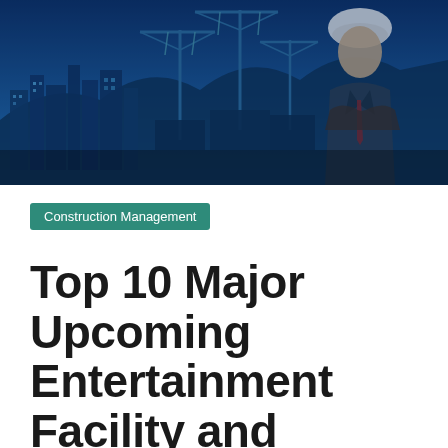[Figure (photo): Wide banner photo showing a construction site with cranes and city skyline in blue tones, with a person in a hard hat on the right side]
Construction Management
Top 10 Major Upcoming Entertainment Facility and Stadium-Arena Construction Projects – U.S. –